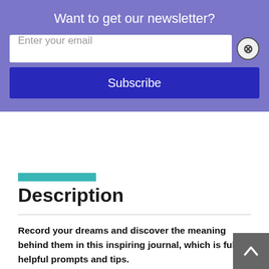Want to get our newsletter?
Enter your email
Subscribe
[Figure (other): Teal colored bar image strip]
Description
Record your dreams and discover the meaning behind them in this inspiring journal, which is full of helpful prompts and tips.
Every person's dream life is completely unique. Dreams are the way in which your unconscious, instinctive self processes experiences, revitalizes you, and sends you powerful messages about your life. Understanding the important communications in dreams is the key to a successful life. My Dream Journal will allow you to read the story of your own dreams, make connections, see patterns, and interpret the secret meani…